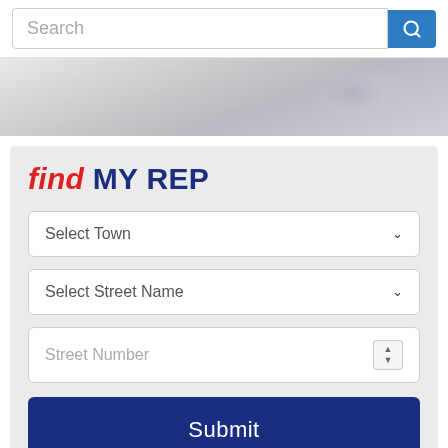[Figure (screenshot): Search bar with text input field showing placeholder 'Search' and a blue search button with magnifying glass icon]
[Figure (photo): Gray gradient hero banner background]
find MY REP
Select Town
Select Street Name
Street Number
Submit
stay CONNECTED